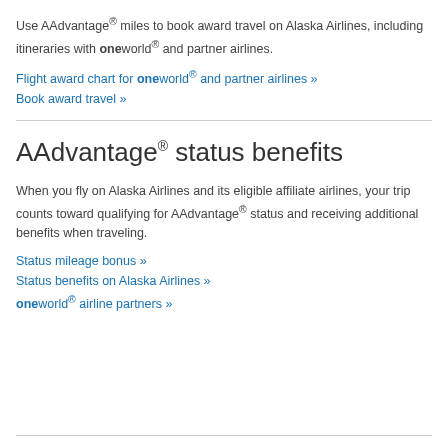Use AAdvantage® miles to book award travel on Alaska Airlines, including itineraries with oneworld® and partner airlines.
Flight award chart for oneworld® and partner airlines »
Book award travel »
AAdvantage® status benefits
When you fly on Alaska Airlines and its eligible affiliate airlines, your trip counts toward qualifying for AAdvantage® status and receiving additional benefits when traveling.
Status mileage bonus »
Status benefits on Alaska Airlines »
oneworld® airline partners »